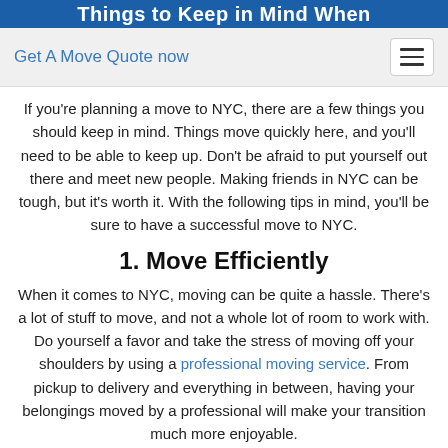Things to Keep in Mind When
Get A Move Quote now
If you're planning a move to NYC, there are a few things you should keep in mind. Things move quickly here, and you'll need to be able to keep up. Don't be afraid to put yourself out there and meet new people. Making friends in NYC can be tough, but it's worth it. With the following tips in mind, you'll be sure to have a successful move to NYC.
1. Move Efficiently
When it comes to NYC, moving can be quite a hassle. There's a lot of stuff to move, and not a whole lot of room to work with. Do yourself a favor and take the stress of moving off your shoulders by using a professional moving service. From pickup to delivery and everything in between, having your belongings moved by a professional will make your transition much more enjoyable.
2. Buy Some Quality Shoes